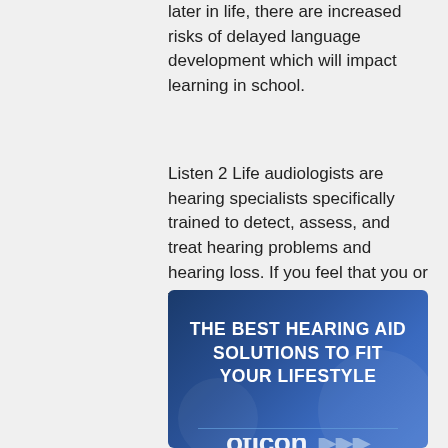later in life, there are increased risks of delayed language development which will impact learning in school.
Listen 2 Life audiologists are hearing specialists specifically trained to detect, assess, and treat hearing problems and hearing loss. If you feel that you or your children may be affected by hearing issues or loss, please call us at (267) 477-1446.
[Figure (infographic): Dark blue advertisement banner reading 'THE BEST HEARING AID SOLUTIONS TO FIT YOUR LIFESTYLE' with a horizontal divider line and 'oticon' logo text at the bottom, with decorative circular elements]